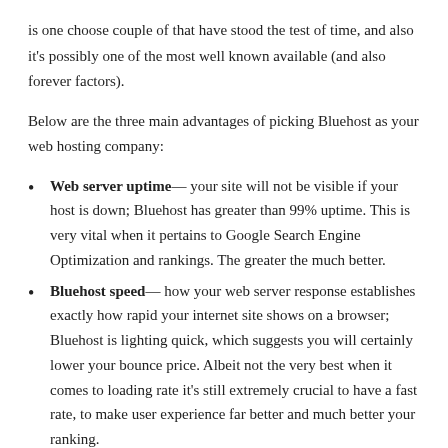is one choose couple of that have stood the test of time, and also it's possibly one of the most well known available (and also forever factors).
Below are the three main advantages of picking Bluehost as your web hosting company:
Web server uptime— your site will not be visible if your host is down; Bluehost has greater than 99% uptime. This is very vital when it pertains to Google Search Engine Optimization and rankings. The greater the much better.
Bluehost speed— how your web server response establishes exactly how rapid your internet site shows on a browser; Bluehost is lighting quick, which suggests you will certainly lower your bounce price. Albeit not the very best when it comes to loading rate it's still extremely crucial to have a fast rate, to make user experience far better and much better your ranking.